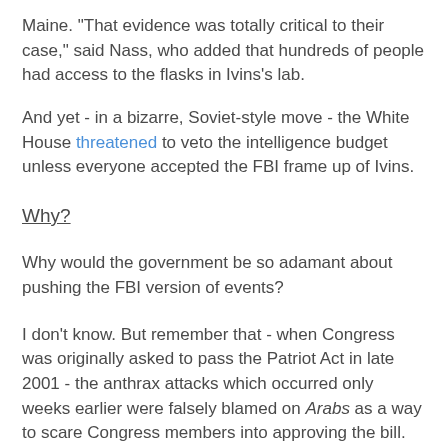Maine. "That evidence was totally critical to their case," said Nass, who added that hundreds of people had access to the flasks in Ivins's lab.
And yet - in a bizarre, Soviet-style move - the White House threatened to veto the intelligence budget unless everyone accepted the FBI frame up of Ivins.
Why?
Why would the government be so adamant about pushing the FBI version of events?
I don't know. But remember that - when Congress was originally asked to pass the Patriot Act in late 2001 - the anthrax attacks which occurred only weeks earlier were falsely blamed on Arabs as a way to scare Congress members into approving the bill. Specifically:
The FBI was actually told to blame Anthrax scare on Al Qaeda by White House officials
High-level government insiders pointed towards